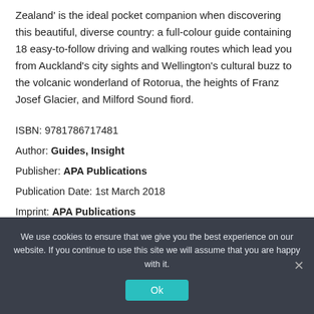Zealand' is the ideal pocket companion when discovering this beautiful, diverse country: a full-colour guide containing 18 easy-to-follow driving and walking routes which lead you from Auckland's city sights and Wellington's cultural buzz to the volcanic wonderland of Rotorua, the heights of Franz Josef Glacier, and Milford Sound fiord.
ISBN: 9781786717481
Author: Guides, Insight
Publisher: APA Publications
Publication Date: 1st March 2018
Imprint: APA Publications
We use cookies to ensure that we give you the best experience on our website. If you continue to use this site we will assume that you are happy with it.